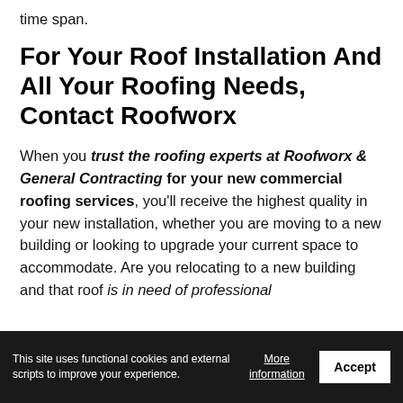time span.
For Your Roof Installation And All Your Roofing Needs, Contact Roofworx
When you trust the roofing experts at Roofworx & General Contracting for your new commercial roofing services, you'll receive the highest quality in your new installation, whether you are moving to a new building or looking to upgrade your current space to accommodate. Are you relocating to a new building and that roof is in need of professional
This site uses functional cookies and external scripts to improve your experience. More information Accept